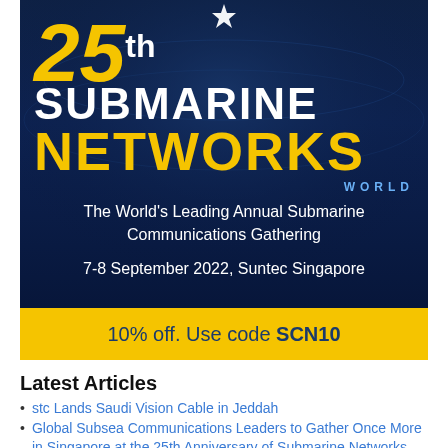[Figure (illustration): 25th Submarine Networks World event banner with dark blue underwater background. Large bold text reads '25th SUBMARINE NETWORKS WORLD'. Tagline: 'The World's Leading Annual Submarine Communications Gathering'. Date: '7-8 September 2022, Suntec Singapore'. Yellow promo bar at the bottom reads '10% off. Use code SCN10'.]
Latest Articles
stc Lands Saudi Vision Cable in Jeddah
Global Subsea Communications Leaders to Gather Once More in Singapore at the 25th Anniversary of Submarine Networks